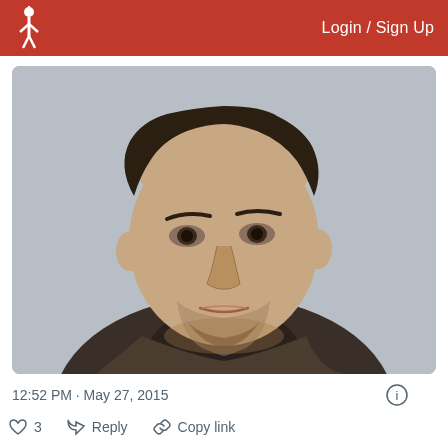Login / Sign Up
[Figure (photo): Headshot portrait of a young man with dark hair and beard, wearing a dark turtleneck and brown blazer, photographed against a light grey background.]
12:52 PM · May 27, 2015
3  Reply  Copy link